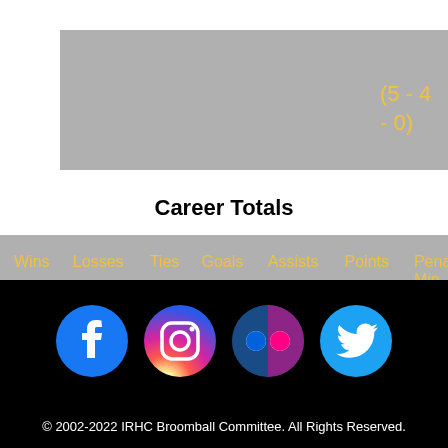| Wins | Losses | Ties | Goals | Assists | Points | Penalty Min. |
| --- | --- | --- | --- | --- | --- | --- |
| 31 | 16 | 0 | 2 | 7 | 9 | 0 |
© 2002-2022 IRHC Broomball Committee. All Rights Reserved.